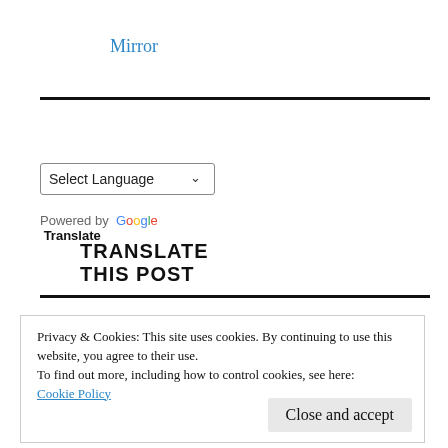Mirror
TRANSLATE THIS POST
Select Language
Powered by Google Translate
Privacy & Cookies: This site uses cookies. By continuing to use this website, you agree to their use.
To find out more, including how to control cookies, see here:
Cookie Policy
Close and accept